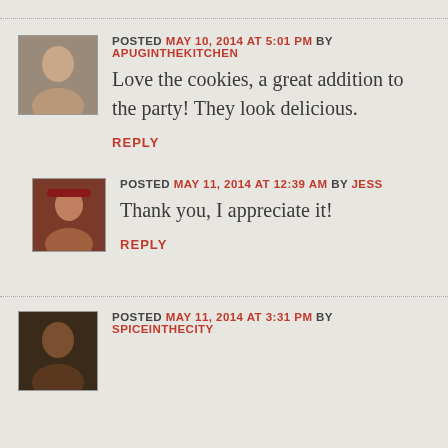POSTED MAY 10, 2014 AT 5:01 PM BY APUGINTHEKITCHEN
Love the cookies, a great addition to the party! They look delicious.
REPLY
POSTED MAY 11, 2014 AT 12:39 AM BY JESS
Thank you, I appreciate it!
REPLY
POSTED MAY 11, 2014 AT 3:31 PM BY SPICEINTHECITY